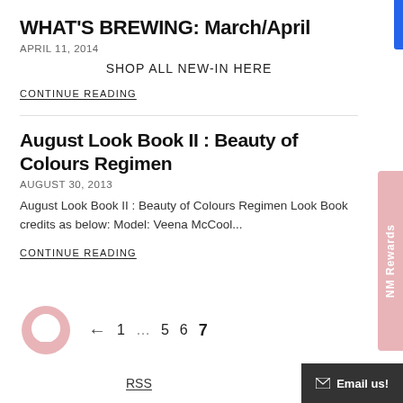WHAT'S BREWING: March/April
APRIL 11, 2014
SHOP ALL NEW-IN HERE
CONTINUE READING
August Look Book II : Beauty of Colours Regimen
AUGUST 30, 2013
August Look Book II : Beauty of Colours Regimen Look Book credits as below: Model: Veena McCool...
CONTINUE READING
← 1 … 5 6 7
RSS  Email us!